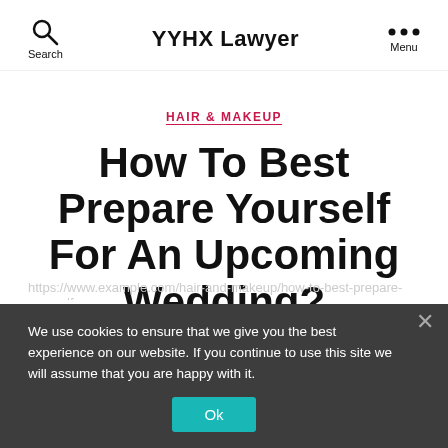Search | YYHX Lawyer | Menu
HAIR & MAKEUP
How To Best Prepare Yourself For An Upcoming Wedding?
By Melani Lozano  31 October 2018
We use cookies to ensure that we give you the best experience on our website. If you continue to use this site we will assume that you are happy with it.